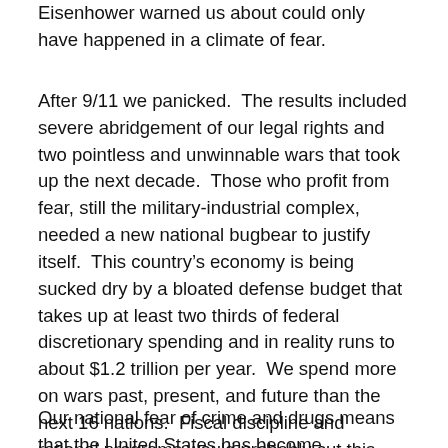Eisenhower warned us about could only have happened in a climate of fear.
After 9/11 we panicked.  The results included severe abridgement of our legal rights and two pointless and unwinnable wars that took up the next decade.  Those who profit from fear, still the military-industrial complex, needed a new national bugbear to justify itself.  This country’s economy is being sucked dry by a bloated defense budget that takes up at least two thirds of federal discretionary spending and in reality runs to about $1.2 trillion per year.  We spend more on wars past, present, and future than the next 16 nations.  Fiscal discipline and rational programs would probably cut this enough to take us out of the red within a few years.
Our national fear of crime and drugs means that the United States has become...